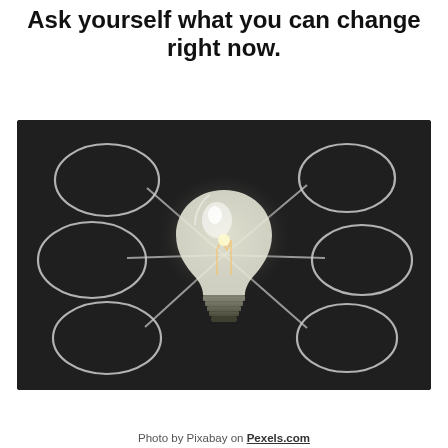Ask yourself what you can change right now.
[Figure (photo): A chalkboard with a glowing light bulb in the center, surrounded by six chalk-drawn oval shapes connected to the bulb by lines radiating outward, suggesting a mind-map or brainstorming concept.]
Photo by Pixabay on Pexels.com